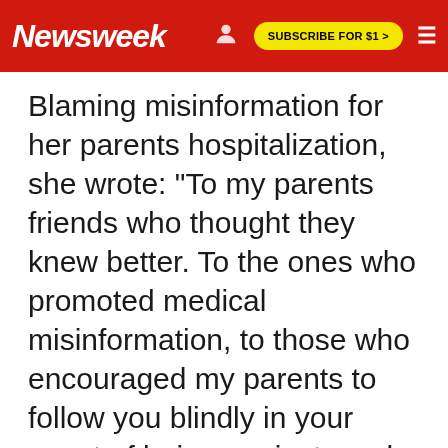Newsweek | SUBSCRIBE FOR $1 >
Blaming misinformation for her parents hospitalization, she wrote: "To my parents friends who thought they knew better. To the ones who promoted medical misinformation, to those who encouraged my parents to follow you blindly in your quest of being against masks and vaccines.